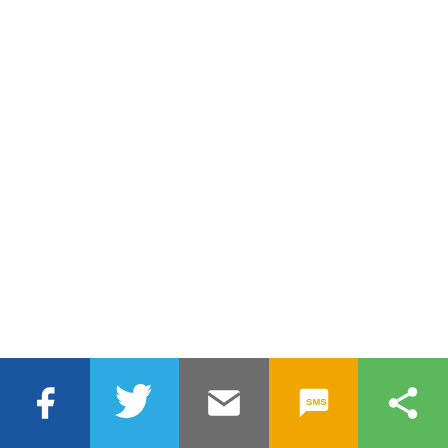· A permanent full-time contract working 40 hours on day or night shifts
[Figure (infographic): Social sharing bar with five buttons: Facebook (dark blue, f icon), Twitter (light blue, bird icon), Email (grey, envelope icon), SMS (amber/yellow, SMS icon), Share (green, share icon)]